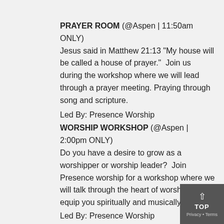PRAYER ROOM (@Aspen | 11:50am ONLY) Jesus said in Matthew 21:13 “My house will be called a house of prayer.”  Join us during the workshop where we will lead through a prayer meeting. Praying through song and scripture.
Led By: Presence Worship
WORSHIP WORKSHOP (@Aspen | 2:00pm ONLY) Do you have a desire to grow as a worshipper or worship leader?  Join Presence worship for a workshop where we will talk through the heart of worship and equip you spiritually and musically.
Led By: Presence Worship